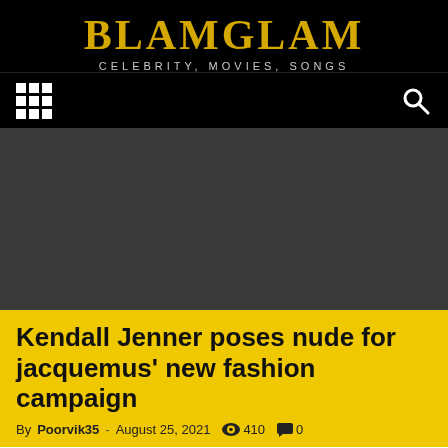BLAMGLAM
CELEBRITY, MOVIES, SONGS
[Figure (screenshot): Dark gray image placeholder area for article hero image]
Kendall Jenner poses nude for jacquemus' new fashion campaign
By Poorvik35 - August 25, 2021  410  0